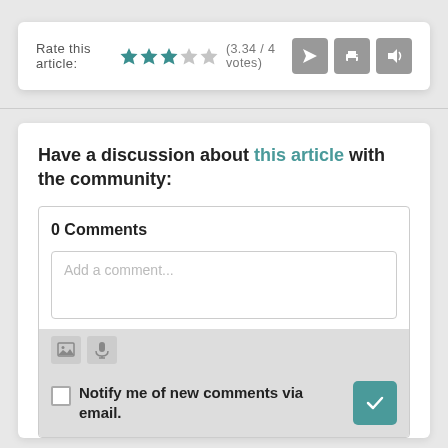Rate this article: ★★★☆☆ (3.34 / 4 votes)
[Figure (screenshot): Three icon buttons: send/share, print, audio]
Have a discussion about this article with the community:
0 Comments
Add a comment...
[Figure (screenshot): Comment toolbar with image icon and microphone icon]
Notify me of new comments via email.